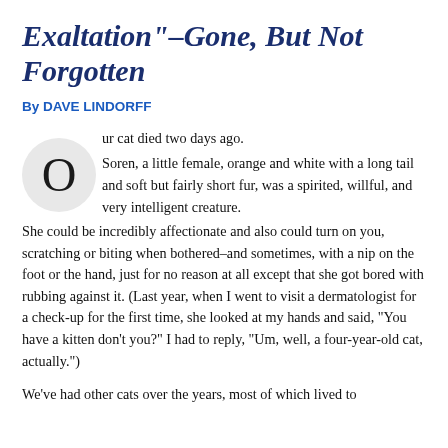Exaltation"–Gone, But Not Forgotten
By DAVE LINDORFF
Our cat died two days ago. Soren, a little female, orange and white with a long tail and soft but fairly short fur, was a spirited, willful, and very intelligent creature. She could be incredibly affectionate and also could turn on you, scratching or biting when bothered–and sometimes, with a nip on the foot or the hand, just for no reason at all except that she got bored with rubbing against it. (Last year, when I went to visit a dermatologist for a check-up for the first time, she looked at my hands and said, "You have a kitten don't you?" I had to reply, "Um, well, a four-year-old cat, actually.")
We've had other cats over the years, most of which lived to